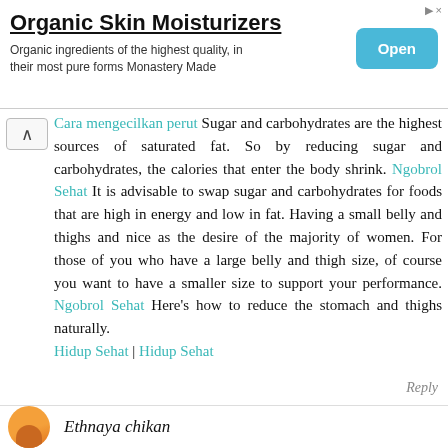[Figure (other): Advertisement banner for Organic Skin Moisturizers with an Open button]
Cara mengecilkan perut Sugar and carbohydrates are the highest sources of saturated fat. So by reducing sugar and carbohydrates, the calories that enter the body shrink. Ngobrol Sehat It is advisable to swap sugar and carbohydrates for foods that are high in energy and low in fat. Having a small belly and thighs and nice as the desire of the majority of women. For those of you who have a large belly and thigh size, of course you want to have a smaller size to support your performance. Ngobrol Sehat Here's how to reduce the stomach and thighs naturally.
Hidup Sehat | Hidup Sehat
Reply
Ethnaya chikan